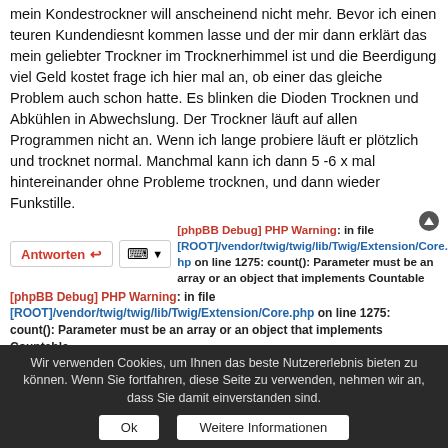mein Kondestrockner will anscheinend nicht mehr. Bevor ich einen teuren Kundendiesnt kommen lasse und der mir dann erklärt das mein geliebter Trockner im Trocknerhimmel ist und die Beerdigung viel Geld kostet frage ich hier mal an, ob einer das gleiche Problem auch schon hatte. Es blinken die Dioden Trocknen und Abkühlen in Abwechslung. Der Trockner läuft auf allen Programmen nicht an. Wenn ich lange probiere läuft er plötzlich und trocknet normal. Manchmal kann ich dann 5 -6 x mal hintereinander ohne Probleme trocknen, und dann wieder Funkstille.
[phpBB Debug] PHP Warning: in file [ROOT]/vendor/twig/twig/lib/Twig/Extension/Core.php on line 1275: count(): Parameter must be an array or an object that implements Countable [phpBB Debug] PHP Warning: in file [ROOT]/vendor/twig/twig/lib/Twig/Extension/Core.php on line 1275: count(): Parameter must be an array or an object that implements Countable [phpBB Debug] PHP Warning: in file [ROOT]/vendor/twig/twig/lib/Twig/Extension/Core.php on line 1275: count(): Parameter must be an array or an object that implements Countable 1 Beitrag[phpBB Debug] PHP Warning: in file [ROOT]/vendor/twig/twig/lib/Twig/Extension/Core.php on line 1275: count(): Parameter must be an array or an object that implements Countable •Seite 1 von 1
Wir verwenden Cookies, um Ihnen das beste Nutzererlebnis bieten zu können. Wenn Sie fortfahren, diese Seite zu verwenden, nehmen wir an, dass Sie damit einverstanden sind. Ok Weitere Informationen